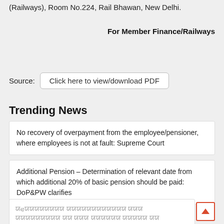(Railways), Room No.224, Rail Bhawan, New Delhi.
For Member Finance/Railways
Source: Click here to view/download PDF
Trending News
No recovery of overpayment from the employee/pensioner, where employees is not at fault: Supreme Court
Additional Pension – Determination of relevant date from which additional 20% of basic pension should be paid: DoP&PW clarifies
[Hindi text] 18 [Hindi text]